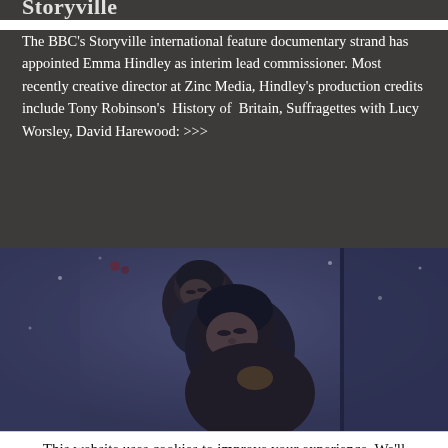Storyville
The BBC's Storyville international feature documentary strand has appointed Emma Hindley as interim lead commissioner. Most recently creative director at Zinc Media, Hindley's production credits include Tony Robinson's  History of  Britain, Suffragettes with Lucy Worsley, David Harewood: >>>
[Figure (photo): A photograph of two children, one child carrying another on their back, both looking downward, in a blue-toned documentary-style image.]
This website uses cookies to improve your experience. We'll assume you're ok with this. I've read this